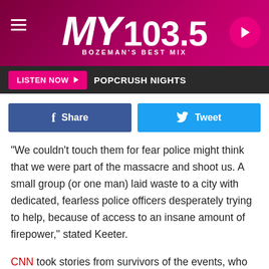[Figure (logo): MY 103.5 Bozeman's Best Mix radio station header with hamburger menu and play button]
LISTEN NOW ▶  POPCRUSH NIGHTS
[Figure (infographic): Facebook Share button and Twitter Tweet button]
"We couldn't touch them for fear police might think that we were part of the massacre and shoot us. A small group (or one man) laid waste to a city with dedicated, fearless police officers desperately trying to help, because of access to an insane amount of firepower," stated Keeter.
CNN took stories from survivors of the events, who recounted what happened to them at the festival. One attendee, Taylor Benge, said he was with his sister, who threw herself on top of him, telling him, '"I love you, Taylor. I love you.' And I'll never forget that," he said.